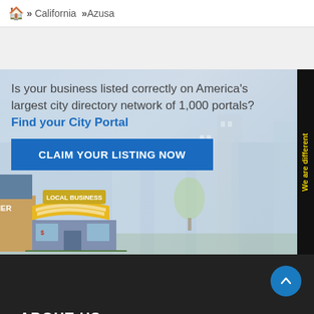» California »Azusa
[Figure (illustration): City directory business listing banner with illustrated cityscape background, showing promotional text, a 'Claim Your Listing Now' button, and a local business store illustration]
Is your business listed correctly on America's largest city directory network of 1,000 portals? Find your City Portal
ABOUT US